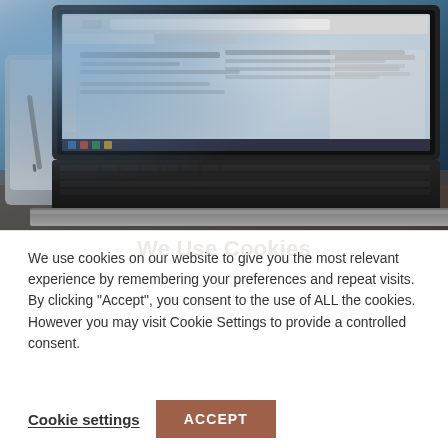[Figure (photo): Photograph of an open laptop computer on a desk. The laptop screen shows a web browser or application interface. On the left side is what appears to be a tablet/notebook and a stylus pen. The scene is lit with a blue-tinted ambient light from the left side.]
We use cookies on our website to give you the most relevant experience by remembering your preferences and repeat visits. By clicking "Accept", you consent to the use of ALL the cookies. However you may visit Cookie Settings to provide a controlled consent.
Cookie settings   ACCEPT